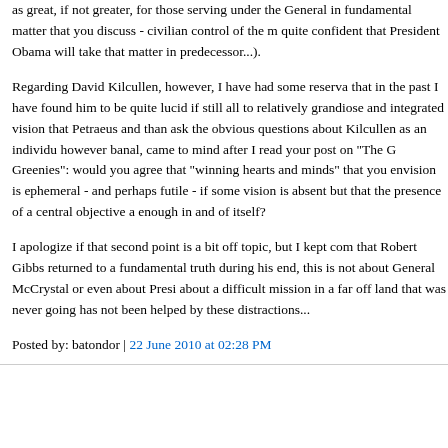as great, if not greater, for those serving under the General in fundamental matter that you discuss - civilian control of the m quite confident that President Obama will take that matter in predecessor...).
Regarding David Kilcullen, however, I have had some reserva that in the past I have found him to be quite lucid if still all to relatively grandiose and integrated vision that Petraeus and than ask the obvious questions about Kilcullen as an individu however banal, came to mind after I read your post on "The G Greenies": would you agree that "winning hearts and minds" that you envision is ephemeral - and perhaps futile - if some vision is absent but that the presence of a central objective a enough in and of itself?
I apologize if that second point is a bit off topic, but I kept com that Robert Gibbs returned to a fundamental truth during his end, this is not about General McCrystal or even about Presi about a difficult mission in a far off land that was never going has not been helped by these distractions...
Posted by: batondor | 22 June 2010 at 02:28 PM